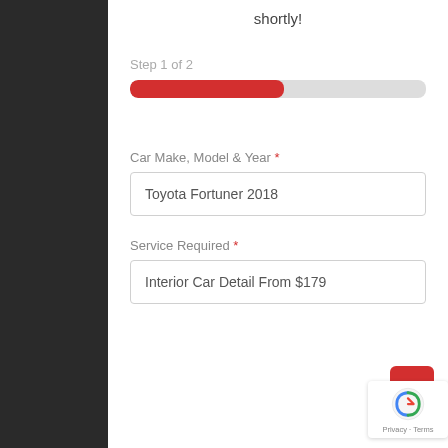shortly!
Step 1 of 2
[Figure (infographic): Progress bar showing step 1 of 2, approximately 50% filled in red]
Car Make, Model & Year *
Toyota Fortuner 2018
Service Required *
Interior Car Detail From $179